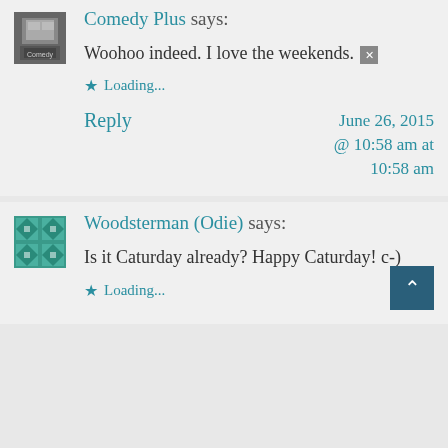[Figure (photo): Avatar/profile image for Comedy Plus commenter, dark monochrome image]
Comedy Plus says:
Woohoo indeed. I love the weekends. [emoji]
Loading...
Reply
June 26, 2015 @ 10:58 am at 10:58 am
[Figure (illustration): Avatar/profile image for Woodsterman (Odie), teal geometric/quilt pattern]
Woodsterman (Odie) says:
Is it Caturday already? Happy Caturday! c-)
Loading...